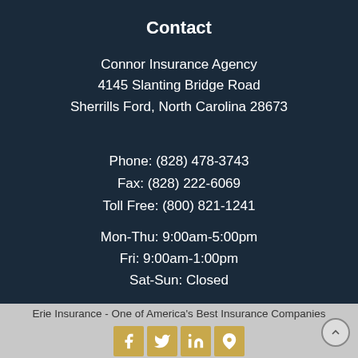Contact
Connor Insurance Agency
4145 Slanting Bridge Road
Sherrills Ford, North Carolina 28673
Phone: (828) 478-3743
Fax: (828) 222-6069
Toll Free: (800) 821-1241
Mon-Thu: 9:00am-5:00pm
Fri: 9:00am-1:00pm
Sat-Sun: Closed
Erie Insurance - One of America's Best Insurance Companies